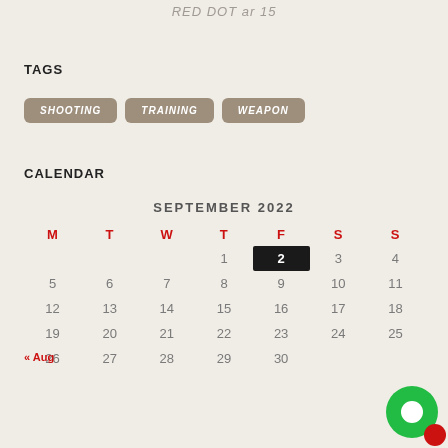RED DOT ar 15
TAGS
SHOOTING
TRAINING
WEAPON
CALENDAR
| M | T | W | T | F | S | S |
| --- | --- | --- | --- | --- | --- | --- |
|  |  |  | 1 | 2 | 3 | 4 |
| 5 | 6 | 7 | 8 | 9 | 10 | 11 |
| 12 | 13 | 14 | 15 | 16 | 17 | 18 |
| 19 | 20 | 21 | 22 | 23 | 24 | 25 |
| 26 | 27 | 28 | 29 | 30 |  |  |
« Aug